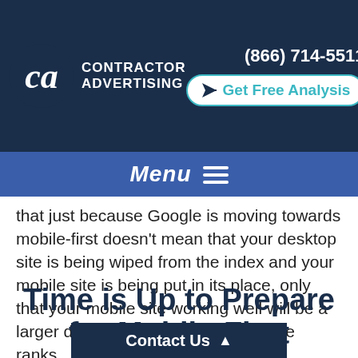[Figure (logo): Contractor Advertising logo with stylized 'ca' monogram on dark navy background, with phone number (866) 714-5511 and Get Free Analysis button]
Menu ≡
that just because Google is moving towards mobile-first doesn't mean that your desktop site is being wiped from the index and your mobile site is being put in its place, only that your mobile site working well will be a larger deciding factor of how your site ranks.
Time is Up to Prepare for Mobile-First Indexing
Contact Us ▲